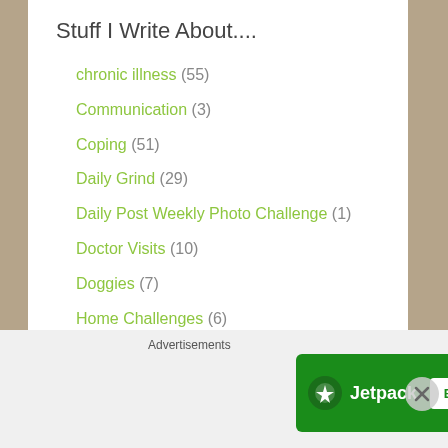Stuff I Write About....
chronic illness (55)
Communication (3)
Coping (51)
Daily Grind (29)
Daily Post Weekly Photo Challenge (1)
Doctor Visits (10)
Doggies (7)
Home Challenges (6)
Hurricane Home (1)
Advertisements
[Figure (screenshot): Jetpack advertisement banner with logo and 'Back up your site' button on green background]